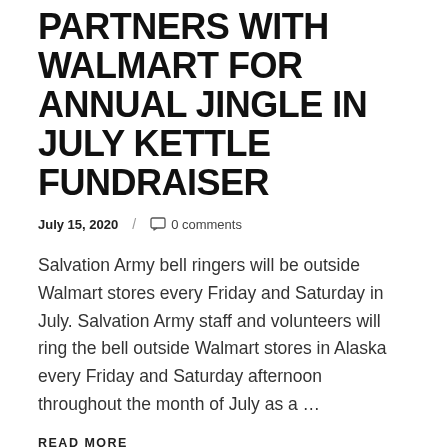PARTNERS WITH WALMART FOR ANNUAL JINGLE IN JULY KETTLE FUNDRAISER
July 15, 2020  /  0 comments
Salvation Army bell ringers will be outside Walmart stores every Friday and Saturday in July. Salvation Army staff and volunteers will ring the bell outside Walmart stores in Alaska every Friday and Saturday afternoon throughout the month of July as a …
READ MORE